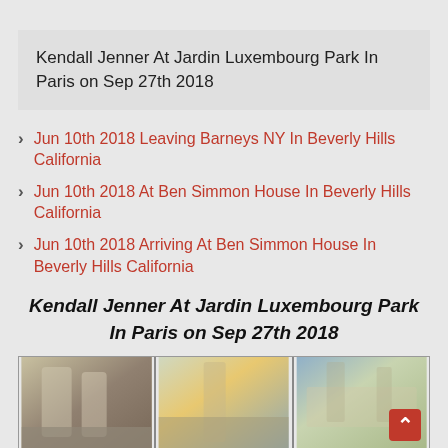Kendall Jenner At Jardin Luxembourg Park In Paris on Sep 27th 2018
Jun 10th 2018 Leaving Barneys NY In Beverly Hills California
Jun 10th 2018 At Ben Simmon House In Beverly Hills California
Jun 10th 2018 Arriving At Ben Simmon House In Beverly Hills California
Kendall Jenner At Jardin Luxembourg Park In Paris on Sep 27th 2018
[Figure (photo): Three photos of Kendall Jenner at Jardin Luxembourg Park in Paris, Sep 27th 2018]